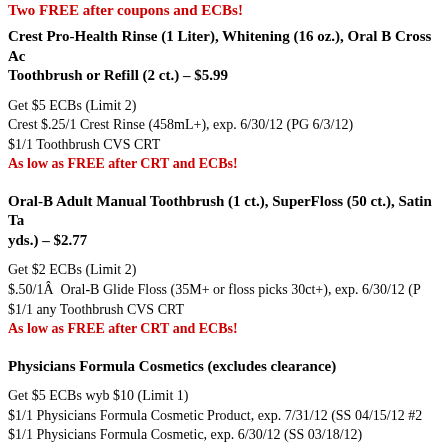Two FREE after coupons and ECBs!
Crest Pro-Health Rinse (1 Liter), Whitening (16 oz.), Oral B Cross Ac Toothbrush or Refill (2 ct.) – $5.99
Get $5 ECBs (Limit 2)
Crest $.25/1 Crest Rinse (458mL+), exp. 6/30/12 (PG 6/3/12)
$1/1 Toothbrush CVS CRT
As low as FREE after CRT and ECBs!
Oral-B Adult Manual Toothbrush (1 ct.), SuperFloss (50 ct.), Satin Ta yds.) – $2.77
Get $2 ECBs (Limit 2)
$.50/1Â  Oral-B Glide Floss (35M+ or floss picks 30ct+), exp. 6/30/12 (P
$1/1 any Toothbrush CVS CRT
As low as FREE after CRT and ECBs!
Physicians Formula Cosmetics (excludes clearance)
Get $5 ECBs wyb $10 (Limit 1)
$1/1 Physicians Formula Cosmetic Product, exp. 7/31/12 (SS 04/15/12 #2
$1/1 Physicians Formula Cosmetic, exp. 6/30/12 (SS 03/18/12)
$1/1 Physicians Formula Cosmetic Product, exp. 7/31/12 (SS 05/06/12 R)